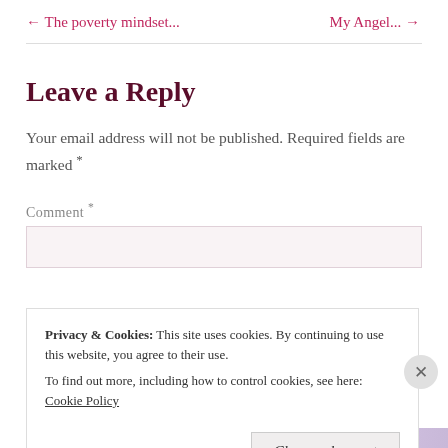← The poverty mindset...
My Angel... →
Leave a Reply
Your email address will not be published. Required fields are marked *
Comment *
Privacy & Cookies: This site uses cookies. By continuing to use this website, you agree to their use. To find out more, including how to control cookies, see here: Cookie Policy
Close and accept